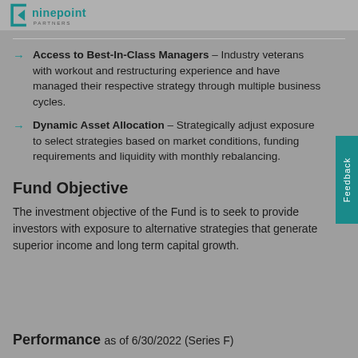ninepoint PARTNERS
Access to Best-In-Class Managers – Industry veterans with workout and restructuring experience and have managed their respective strategy through multiple business cycles.
Dynamic Asset Allocation – Strategically adjust exposure to select strategies based on market conditions, funding requirements and liquidity with monthly rebalancing.
Fund Objective
The investment objective of the Fund is to seek to provide investors with exposure to alternative strategies that generate superior income and long term capital growth.
Performance as of 6/30/2022 (Series F)